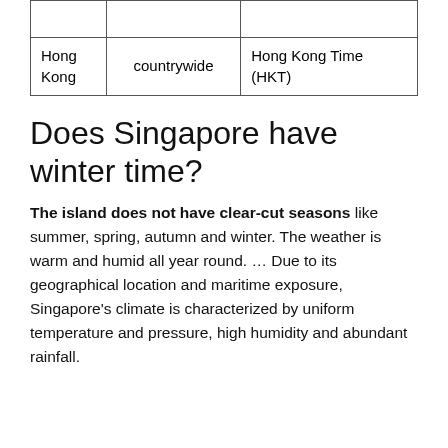|  |  |  |
| Hong Kong | countrywide | Hong Kong Time (HKT) |
Does Singapore have winter time?
The island does not have clear-cut seasons like summer, spring, autumn and winter. The weather is warm and humid all year round. ... Due to its geographical location and maritime exposure, Singapore's climate is characterized by uniform temperature and pressure, high humidity and abundant rainfall.